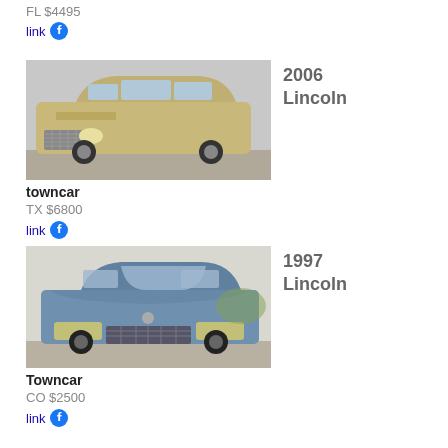FL $4495
link
[Figure (photo): 2006 Lincoln Town Car, gold/beige color, front 3/4 view in parking area]
2006 Lincoln
towncar
TX $6800
link
[Figure (photo): 1997 Lincoln Town Car, blue color, front view in outdoor setting]
1997 Lincoln
Towncar
CO $2500
link